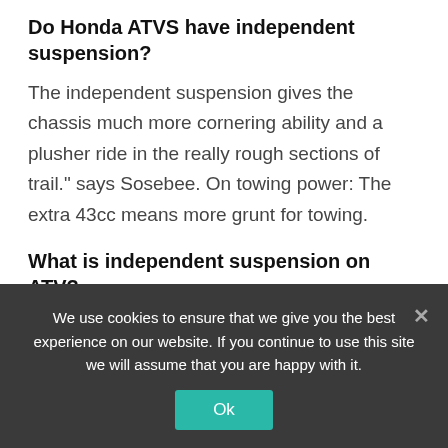Do Honda ATVS have independent suspension?
The independent suspension gives the chassis much more cornering ability and a plusher ride in the really rough sections of trail.” says Sosebee. On towing power: The extra 43cc means more grunt for towing.
What is independent suspension on ATV?
A four wheel independent suspension allows each wheel to move up and down independently from the rest of the suspension. This means that all four of the vehicle’s
We use cookies to ensure that we give you the best experience on our website. If you continue to use this site we will assume that you are happy with it.
Ok